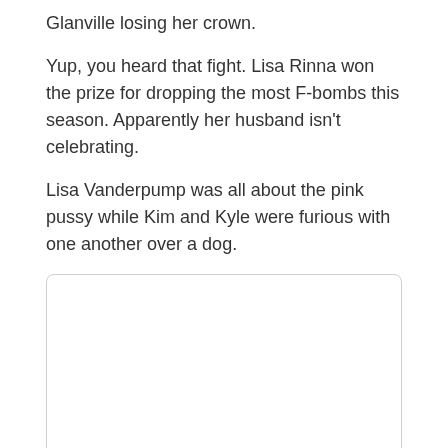Glanville losing her crown.
Yup, you heard that fight. Lisa Rinna won the prize for dropping the most F-bombs this season. Apparently her husband isn't celebrating.
Lisa Vanderpump was all about the pink pussy while Kim and Kyle were furious with one another over a dog.
[Figure (photo): Empty white image placeholder box with rounded corners and light gray border]